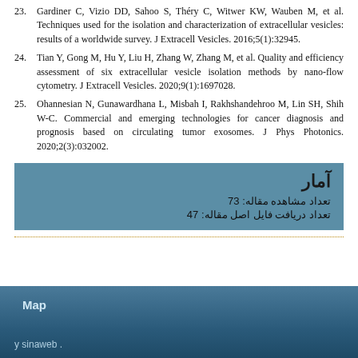23. Gardiner C, Vizio DD, Sahoo S, Théry C, Witwer KW, Wauben M, et al. Techniques used for the isolation and characterization of extracellular vesicles: results of a worldwide survey. J Extracell Vesicles. 2016;5(1):32945.
24. Tian Y, Gong M, Hu Y, Liu H, Zhang W, Zhang M, et al. Quality and efficiency assessment of six extracellular vesicle isolation methods by nano-flow cytometry. J Extracell Vesicles. 2020;9(1):1697028.
25. Ohannesian N, Gunawardhana L, Misbah I, Rakhshandehroo M, Lin SH, Shih W-C. Commercial and emerging technologies for cancer diagnosis and prognosis based on circulating tumor exosomes. J Phys Photonics. 2020;2(3):032002.
آمار
تعداد مشاهده مقاله: 73
تعداد دریافت فایل اصل مقاله: 47
Map

sinaweb .